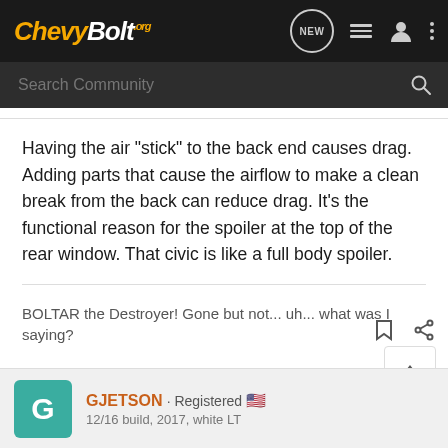ChevyBolt.org — Search Community
Having the air "stick" to the back end causes drag. Adding parts that cause the airflow to make a clean break from the back can reduce drag. It's the functional reason for the spoiler at the top of the rear window. That civic is like a full body spoiler.
BOLTAR the Destroyer! Gone but not... uh... what was I saying?
GJETSON · Registered 🇺🇸
12/16 build, 2017, white LT